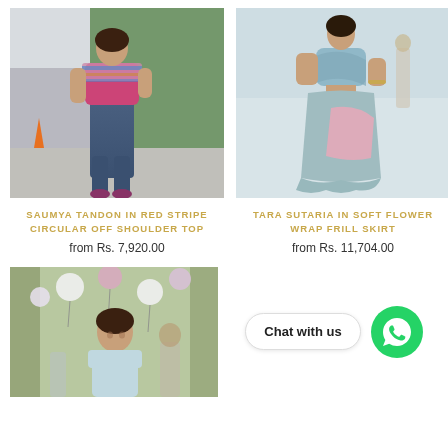[Figure (photo): Woman wearing colorful red stripe circular off shoulder top with blue jeans, posing outdoors]
[Figure (photo): Woman wearing soft flower wrap frill skirt in blue/pink, walking outdoors]
SAUMYA TANDON IN RED STRIPE CIRCULAR OFF SHOULDER TOP
from Rs. 7,920.00
TARA SUTARIA IN SOFT FLOWER WRAP FRILL SKIRT
from Rs. 11,704.00
[Figure (photo): Woman smiling at an outdoor party with balloons]
Chat with us